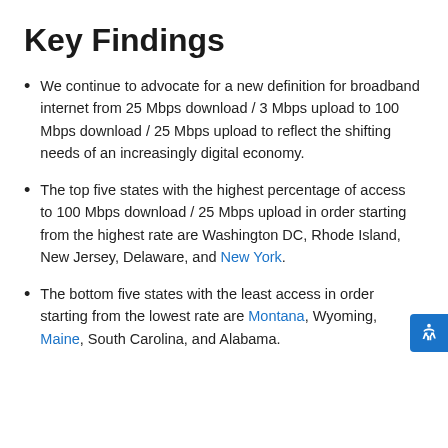Key Findings
We continue to advocate for a new definition for broadband internet from 25 Mbps download / 3 Mbps upload to 100 Mbps download / 25 Mbps upload to reflect the shifting needs of an increasingly digital economy.
The top five states with the highest percentage of access to 100 Mbps download / 25 Mbps upload in order starting from the highest rate are Washington DC, Rhode Island, New Jersey, Delaware, and New York.
The bottom five states with the least access in order starting from the lowest rate are Montana, Wyoming, Maine, South Carolina, and Alabama.